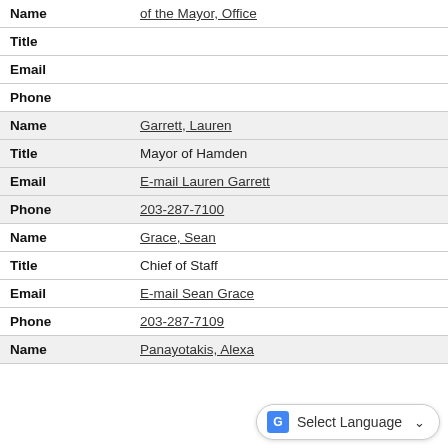| Field | Value |
| --- | --- |
| Name | of the Mayor, Office |
| Title |  |
| Email |  |
| Phone |  |
| Name | Garrett, Lauren |
| Title | Mayor of Hamden |
| Email | E-mail Lauren Garrett |
| Phone | 203-287-7100 |
| Name | Grace, Sean |
| Title | Chief of Staff |
| Email | E-mail Sean Grace |
| Phone | 203-287-7109 |
| Name | Panayotakis, Alexa |